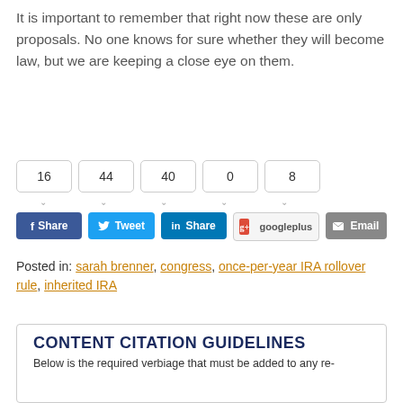It is important to remember that right now these are only proposals. No one knows for sure whether they will become law, but we are keeping a close eye on them.
[Figure (infographic): Social sharing counters (16, 44, 40, 0, 8) and buttons: Facebook Share, Twitter Tweet, LinkedIn Share, Google Plus, Email]
Posted in: sarah brenner, congress, once-per-year IRA rollover rule, inherited IRA
CONTENT CITATION GUIDELINES
Below is the required verbiage that must be added to any re-